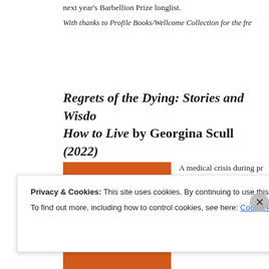next year's Barbellion Prize longlist.
With thanks to Profile Books/Wellcome Collection for the fre
Regrets of the Dying: Stories and Wisdom on How to Live by Georgina Scull (2022)
[Figure (illustration): Book cover for 'regrets' shown in orange/red background with yellow italic text reading 'regrets']
A medical crisis during pregnancy from death was a wake-up rethink whether the life she wanted. She spent the nex
Privacy & Cookies: This site uses cookies. By continuing to use this website, you agree to their use.
To find out more, including how to control cookies, see here: Cookie Policy